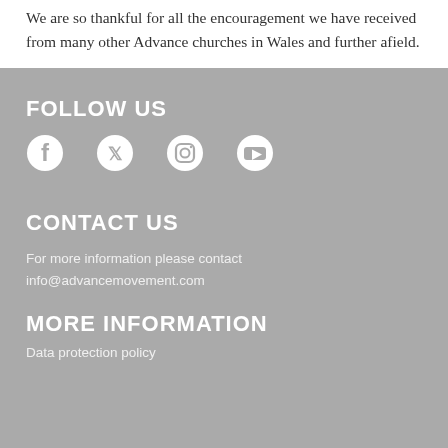We are so thankful for all the encouragement we have received from many other Advance churches in Wales and further afield.
FOLLOW US
[Figure (infographic): Row of four social media icons: Facebook, Twitter, Instagram, YouTube in white on grey background]
CONTACT US
For more information please contact info@advancemovement.com
MORE INFORMATION
Data protection policy